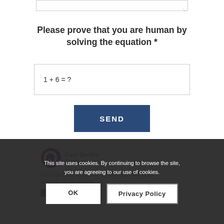Please prove that you are human by solving the equation *
SEND
[Figure (logo): Care Quality Commission logo with purple circle Q and grey text]
Sorry, but CQC don't currently have any information available on this service.
See the
This site uses cookies. By continuing to browse the site, you are agreeing to our use of cookies.
OK
Privacy Policy